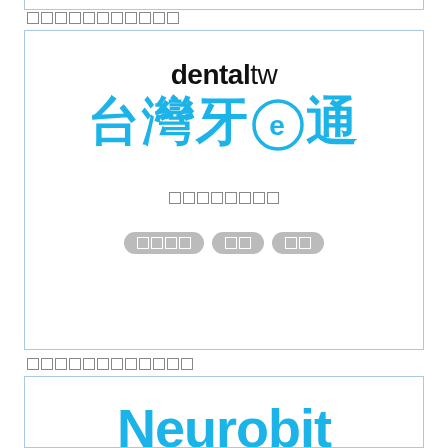□□□□□□□□□□□
[Figure (logo): dentaltw logo with Chinese text '台灣牙e通' in blue, subtitle text in gray, and three gray pill-shaped tags]
□□□□□□□□□□□□
[Figure (logo): Neurobit logo text in blue, partially visible at bottom of page]